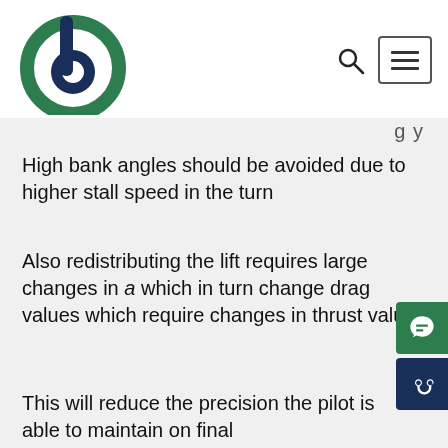[Figure (logo): Circular logo with dark blue and green swirl design forming a stylized letter b]
High bank angles should be avoided due to higher stall speed in the turn
Also redistributing the lift requires large changes in a which in turn change drag values which require changes in thrust values
This will reduce the precision the pilot is able to maintain on final